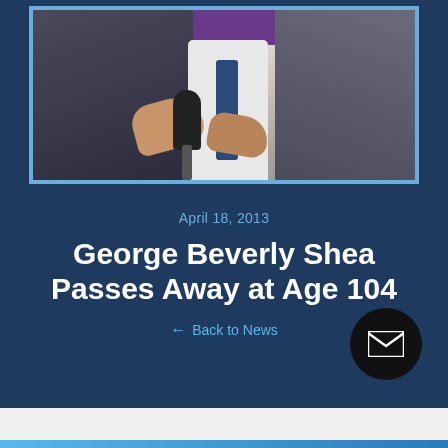[Figure (photo): Photo of a person holding a microphone, wearing a dark suit and tie, with a purple background visible at top]
April 18, 2013
George Beverly Shea Passes Away at Age 104
← Back to News